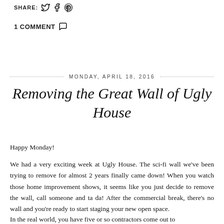SHARE: [Twitter] [Facebook] [Pinterest]
1 COMMENT [speech bubble icon]
MONDAY, APRIL 18, 2016
Removing the Great Wall of Ugly House
Happy Monday!
We had a very exciting week at Ugly House. The sci-fi wall we've been trying to remove for almost 2 years finally came down! When you watch those home improvement shows, it seems like you just decide to remove the wall, call someone and ta da! After the commercial break, there's no wall and you're ready to start staging your new open space.
In the real world, you have five or so contractors come out to